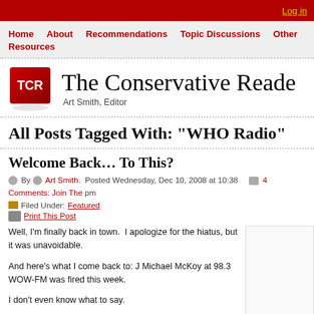Log in
Home  About  Recommendations  Topic Discussions  Other Resources
The Conservative Reader — Art Smith, Editor
All Posts Tagged With: "WHO Radio"
Welcome Back… To This?
By Art Smith. Posted Wednesday, Dec 10, 2008 at 10:38 pm  4 Comments: Join The
Filed Under: Featured
Print This Post
Well, I'm finally back in town.  I apologize for the hiatus, but it was unavoidable.
And here's what I come back to: J Michael McKoy at 98.3 WOW-FM was fired this week.
I don't even know what to say.